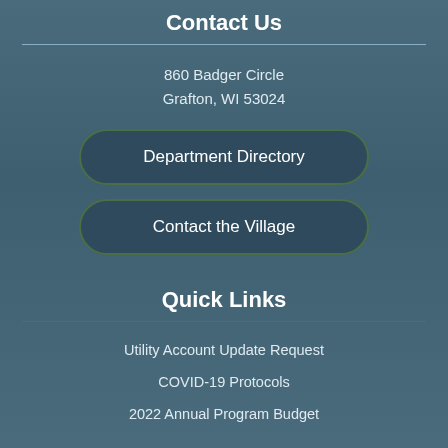Contact Us
860 Badger Circle
Grafton, WI 53024
[Figure (other): Button: Department Directory]
[Figure (other): Button: Contact the Village]
Quick Links
Utility Account Update Request
COVID-19 Protocols
2022 Annual Program Budget